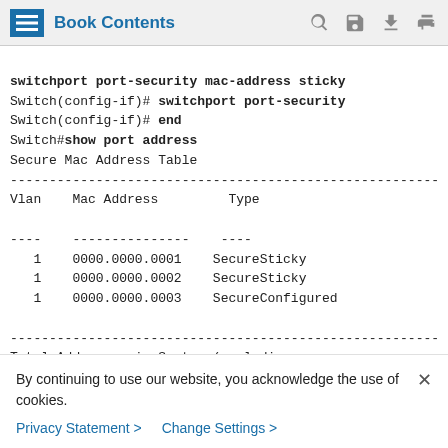Book Contents
switchport port-security mac-address sticky
Switch(config-if)# switchport port-security
Switch(config-if)# end
Switch#show port address
Secure Mac Address Table
------------------------------------------------------------
Vlan    Mac Address         Type

----    ---------------    ----
   1    0000.0000.0001    SecureSticky
   1    0000.0000.0002    SecureSticky
   1    0000.0000.0003    SecureConfigured

------------------------------------------------------------
Total Addresses in System (excluding one o
By continuing to use our website, you acknowledge the use of cookies.
Privacy Statement > Change Settings >